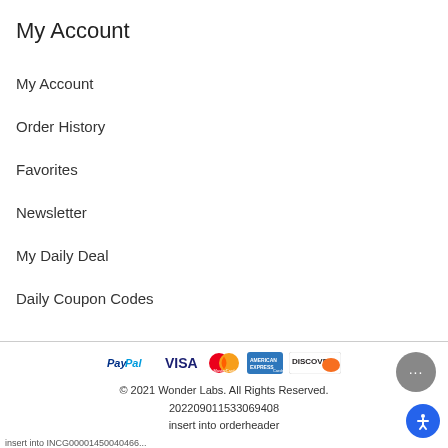My Account
My Account
Order History
Favorites
Newsletter
My Daily Deal
Daily Coupon Codes
[Figure (logo): Payment method logos: PayPal, VISA, MasterCard, American Express, Discover]
© 2021 Wonder Labs. All Rights Reserved.
202209011533069408
insert into orderheader